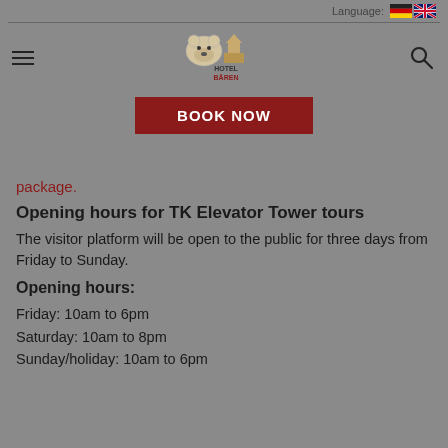Language: [DE flag] [UK flag]
[Figure (logo): Hotel Bären logo with bear illustration and building icon, with BOOK NOW button below]
package.
Opening hours for TK Elevator Tower tours
The visitor platform will be open to the public for three days from Friday to Sunday.
Opening hours:
Friday: 10am to 6pm
Saturday: 10am to 8pm
Sunday/holiday: 10am to 6pm